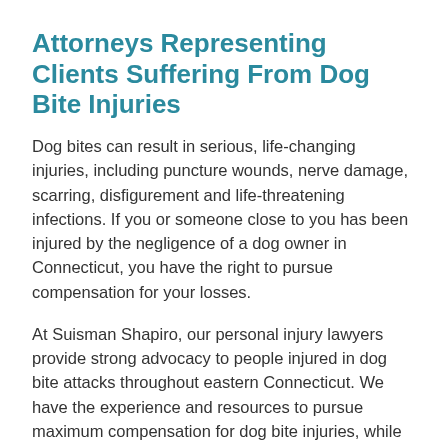Attorneys Representing Clients Suffering From Dog Bite Injuries
Dog bites can result in serious, life-changing injuries, including puncture wounds, nerve damage, scarring, disfigurement and life-threatening infections. If you or someone close to you has been injured by the negligence of a dog owner in Connecticut, you have the right to pursue compensation for your losses.
At Suisman Shapiro, our personal injury lawyers provide strong advocacy to people injured in dog bite attacks throughout eastern Connecticut. We have the experience and resources to pursue maximum compensation for dog bite injuries, while holding dog owners accountable for their negligence.